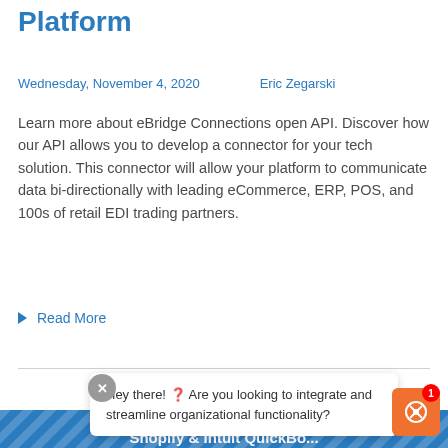Platform
Wednesday, November 4, 2020    Eric Zegarski
Learn more about eBridge Connections open API. Discover how our API allows you to develop a connector for your tech solution. This connector will allow your platform to communicate data bi-directionally with leading eCommerce, ERP, POS, and 100s of retail EDI trading partners.
Read More
Hey there! ? Are you looking to integrate and streamline organizational functionality?